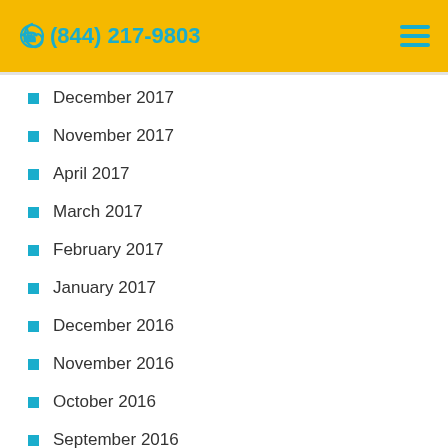(844) 217-9803
December 2017
November 2017
April 2017
March 2017
February 2017
January 2017
December 2016
November 2016
October 2016
September 2016
August 2016
July 2016